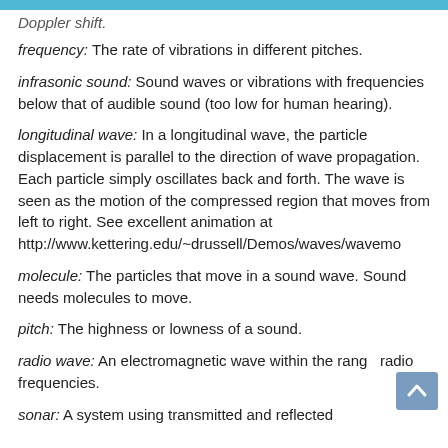Doppler shift.
frequency: The rate of vibrations in different pitches.
infrasonic sound: Sound waves or vibrations with frequencies below that of audible sound (too low for human hearing).
longitudinal wave: In a longitudinal wave, the particle displacement is parallel to the direction of wave propagation. Each particle simply oscillates back and forth. The wave is seen as the motion of the compressed region that moves from left to right. See excellent animation at http://www.kettering.edu/~drussell/Demos/waves/wavemo
molecule: The particles that move in a sound wave. Sound needs molecules to move.
pitch: The highness or lowness of a sound.
radio wave: An electromagnetic wave within the range of radio frequencies.
sonar: A system using transmitted and reflected